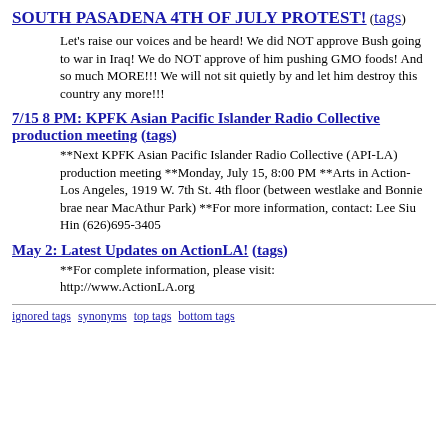SOUTH PASADENA 4TH OF JULY PROTEST! (tags)
Let's raise our voices and be heard! We did NOT approve Bush going to war in Iraq! We do NOT approve of him pushing GMO foods! And so much MORE!!! We will not sit quietly by and let him destroy this country any more!!!
7/15 8 PM: KPFK Asian Pacific Islander Radio Collective production meeting (tags)
**Next KPFK Asian Pacific Islander Radio Collective (API-LA) production meeting **Monday, July 15, 8:00 PM **Arts in Action-Los Angeles, 1919 W. 7th St. 4th floor (between westlake and Bonnie brae near MacAthur Park) **For more information, contact: Lee Siu Hin (626)695-3405
May 2: Latest Updates on ActionLA! (tags)
**For complete information, please visit: http://www.ActionLA.org
ignored tags  synonyms  top tags  bottom tags